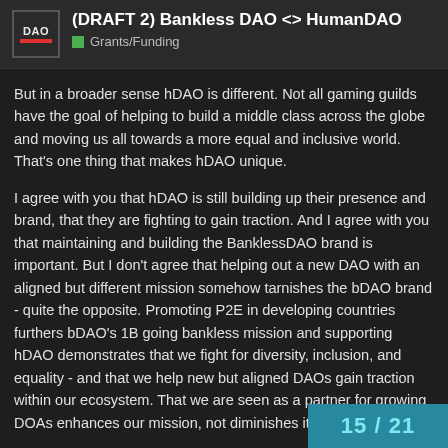(DRAFT 2) Bankless DAO <> HumanDAO — Grants/Funding
But in a broader sense hDAO is different. Not all gaming guilds have the goal of helping to build a middle class across the globe and moving us all towards a more equal and inclusive world. That's one thing that makes hDAO unique.
I agree with you that hDAO is still building up their presence and brand, that they are fighting to gain traction. And I agree with you that maintaining and building the BanklessDAO brand is important. But I don't agree that helping out a new DAO with an aligned but different mission somehow tarnishes the bDAO brand - quite the opposite. Promoting P2E in developing countries furthers bDAO's 1B going bankless mission and supporting hDAO demonstrates that we fight for diversity, inclusion, and equality - and that we help new but aligned DAOs gain traction within our ecosystem. That we are seen as a partner for growing DOAs enhances our mission, not diminishes it.
15 / 21